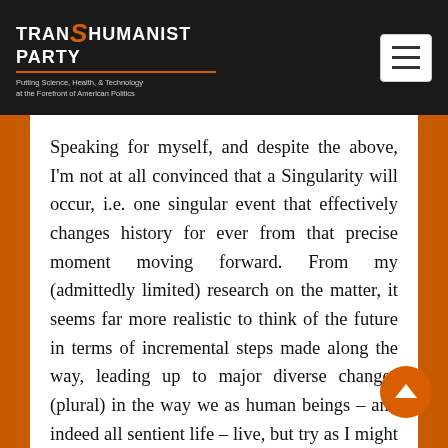TRANSHUMANIST PARTY – Putting Science, Health, & Technology at the Forefront of American Politics
Speaking for myself, and despite the above, I'm not at all convinced that a Singularity will occur, i.e. one singular event that effectively changes history for ever from that precise moment moving forward. From my (admittedly limited) research on the matter, it seems far more realistic to think of the future in terms of incremental steps made along the way, leading up to major diverse changes (plural) in the way we as human beings – and indeed all sentient life – live, but try as I might I cannot get my head around these all occurring in a near-contemporary Big Bang.

Surely we have plenty of evidence already that the